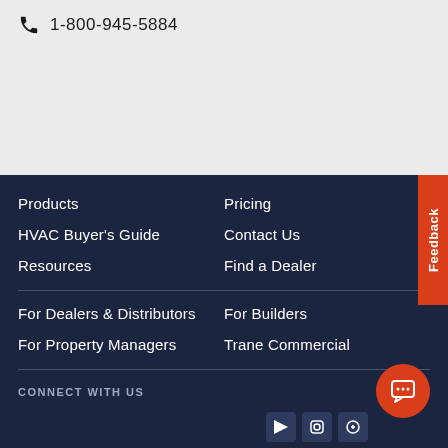1-800-945-5884
Products
Pricing
HVAC Buyer's Guide
Contact Us
Resources
Find a Dealer
For Dealers & Distributors
For Builders
For Property Managers
Trane Commercial
CONNECT WITH US